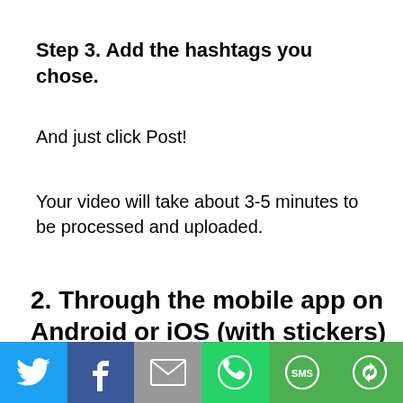Step 3. Add the hashtags you chose.
And just click Post!
Your video will take about 3-5 minutes to be processed and uploaded.
2.  Through the mobile app on Android or iOS (with stickers)
[Figure (infographic): Social sharing footer bar with icons for Twitter (blue), Facebook (dark blue), Email (grey), WhatsApp (green), SMS (green), and a share/rotate icon (green)]